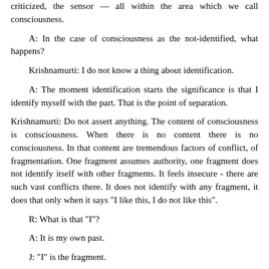criticized, the sensor — all within the area which we call consciousness.
A: In the case of consciousness as the not-identified, what happens?
Krishnamurti: I do not know a thing about identification.
A: The moment identification starts the significance is that I identify myself with the part. That is the point of separation.
Krishnamurti: Do not assert anything. The content of consciousness is consciousness. When there is no content there is no consciousness. In that content are tremendous factors of conflict, of fragmentation. One fragment assumes authority, one fragment does not identify itself with other fragments. It feels insecure - there are such vast conflicts there. It does not identify with any fragment, it does that only when it says "I like this, I do not like this".
R: What is that "I"?
A: It is my own past.
J: "I" is the fragment.
A: Buddha said it is the totality of all impressions, the complex of impressions, which has created an identity for itself but which has no true identity.